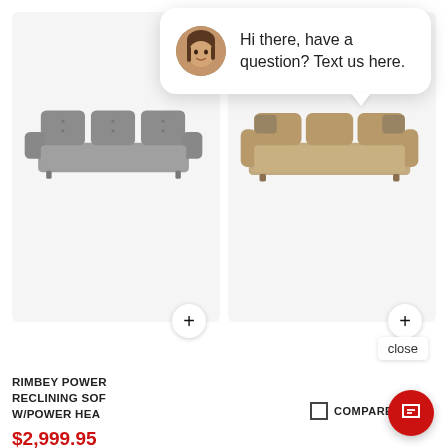[Figure (screenshot): E-commerce product page showing two reclining sofas with heart/wishlist icons, plus buttons, and close button]
RIMBEY POWER RECLINING SOFA W/POWER HEA
$2,999.95
COMPARE
COMPARE
Hi there, have a question? Text us here.
close